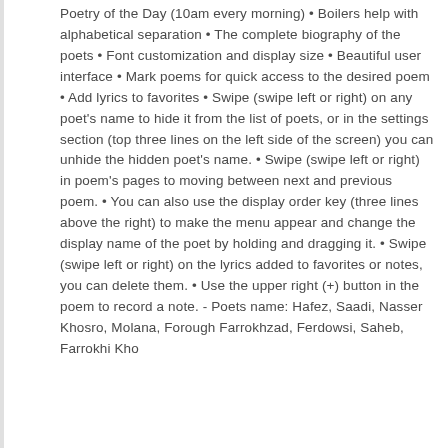Poetry of the Day (10am every morning) • Boilers help with alphabetical separation • The complete biography of the poets • Font customization and display size • Beautiful user interface • Mark poems for quick access to the desired poem • Add lyrics to favorites • Swipe (swipe left or right) on any poet's name to hide it from the list of poets, or in the settings section (top three lines on the left side of the screen) you can unhide the hidden poet's name. • Swipe (swipe left or right) in poem's pages to moving between next and previous poem. • You can also use the display order key (three lines above the right) to make the menu appear and change the display name of the poet by holding and dragging it. • Swipe (swipe left or right) on the lyrics added to favorites or notes, you can delete them. • Use the upper right (+) button in the poem to record a note. - Poets name: Hafez, Saadi, Nasser Khosro, Molana, Forough Farrokhzad, Ferdowsi, Saheb, Farrokhi Kho...